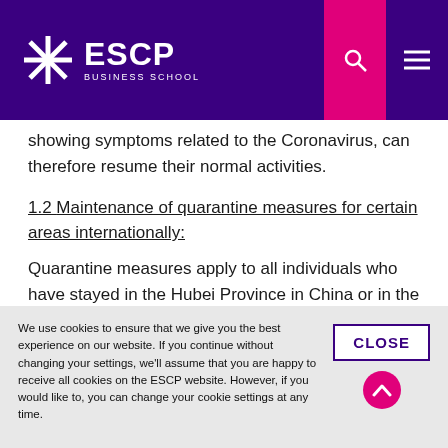ESCP Business School
showing symptoms related to the Coronavirus, can therefore resume their normal activities.
1.2 Maintenance of quarantine measures for certain areas internationally:
Quarantine measures apply to all individuals who have stayed in the Hubei Province in China or in the Italian cities of Bertonico; Casalpusterlengo; Castelgerundo; Castiglione D'Adda; Codogno; Fombio; Maleo; San Fiorano; Somaglia; Terranova dei Passerini in Lombardy,
We use cookies to ensure that we give you the best experience on our website. If you continue without changing your settings, we'll assume that you are happy to receive all cookies on the ESCP website. However, if you would like to, you can change your cookie settings at any time.